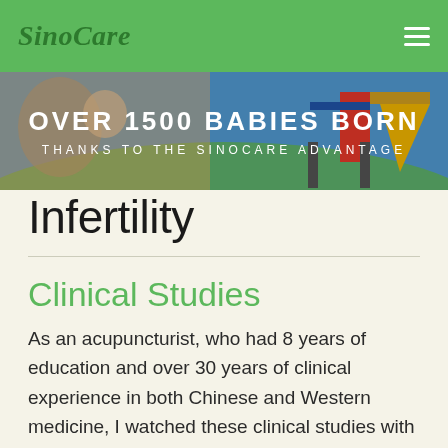SinoCare
[Figure (photo): Banner image showing a mother with a baby on the left side and a colorful playground on the right side, with green grass and blue sky background. Text overlay reads 'OVER 1500 BABIES BORN THANKS TO THE SINOCARE ADVANTAGE']
Infertility
Clinical Studies
As an acupuncturist, who had 8 years of education and over 30 years of clinical experience in both Chinese and Western medicine, I watched these clinical studies with a mixed feeling.